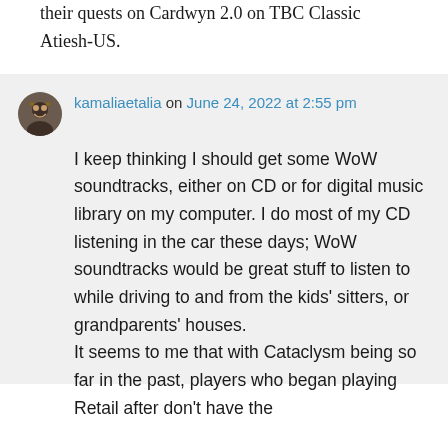Westfall, that was a gut punch given I'd just done their quests on Cardwyn 2.0 on TBC Classic Atiesh-US.
kamaliaetalia on June 24, 2022 at 2:55 pm
I keep thinking I should get some WoW soundtracks, either on CD or for digital music library on my computer. I do most of my CD listening in the car these days; WoW soundtracks would be great stuff to listen to while driving to and from the kids' sitters, or grandparents' houses. It seems to me that with Cataclysm being so far in the past, players who began playing Retail after don't have the